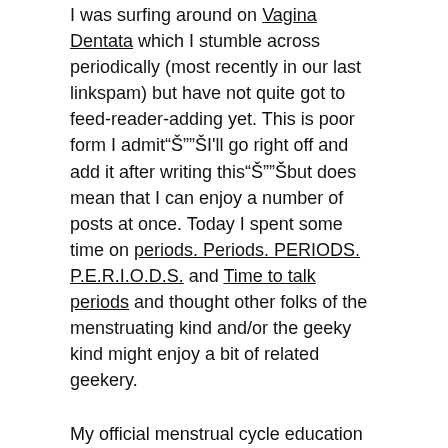I was surfing around on Vagina Dentata which I stumble across periodically (most recently in our last linkspam) but have not quite got to feed-reader-adding yet. This is poor form I admit“Š””ŠI'll go right off and add it after writing this“Š””Šbut does mean that I can enjoy a number of posts at once. Today I spent some time on periods. Periods. PERIODS. P.E.R.I.O.D.S. and Time to talk periods and thought other folks of the menstruating kind and/or the geeky kind might enjoy a bit of related geekery.
My official menstrual cycle education essentially boiled down to, if I recall correctly, that there was a time when one bled, a longer time when one didn’t and that at some point during the longer time ovulation occurred. And there were was certain amount of practical information regarding pads and tampons, which largely came down to a few diagrams and “beware Toxic Shock Syndrome”. Only in my mid-twenties, looking only to fill, I think, idle